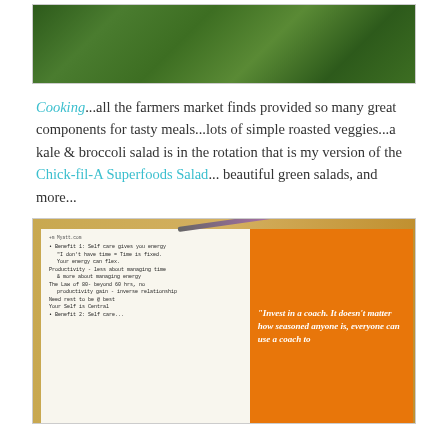[Figure (photo): Photo of kale and broccoli vegetables on a dark background, partially cropped at top]
Cooking...all the farmers market finds provided so many great components for tasty meals...lots of simple roasted veggies...a kale & broccoli salad is in the rotation that is my version of the Chick-fil-A Superfoods Salad... beautiful green salads, and more...
[Figure (photo): Photo of an open notebook with handwritten notes about self care and coaching benefits, next to an orange card/pamphlet reading 'Invest in a coach. It doesn't matter how seasoned anyone is, everyone can use a coach to', with a purple pen resting on top, all on a wooden table surface]